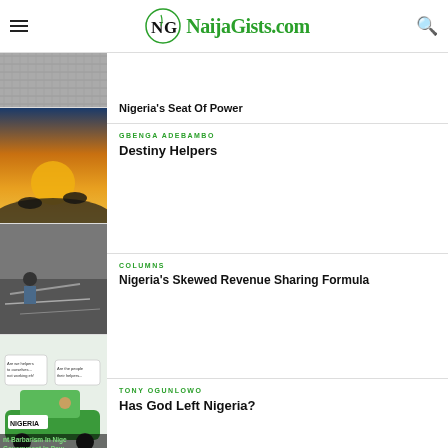NaijaGists.com
Nigeria's Seat Of Power
GBENGA ADEBAMBO
Destiny Helpers
COLUMNS
Nigeria's Skewed Revenue Sharing Formula
TONY OGUNLOWO
Has God Left Nigeria?
COLUMNS